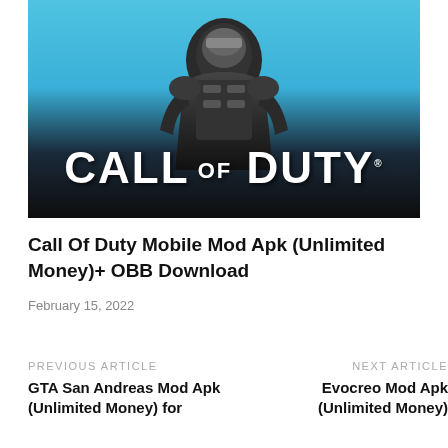[Figure (photo): Call of Duty game promotional image showing a masked soldier in tactical gear against a blue background, with large white 'CALL OF DUTY' text at the bottom]
Call Of Duty Mobile Mod Apk (Unlimited Money)+ OBB Download
February 15, 2022
PREVIOUS ARTICLE
GTA San Andreas Mod Apk (Unlimited Money) for
NEXT ARTICLE
Evocreo Mod Apk (Unlimited Money)